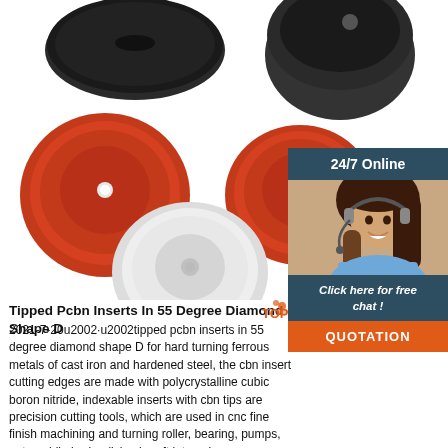[Figure (photo): Product photo showing multiple round disc/washer components in black, red, white colors and one with 3M double-sided tape label]
[Figure (photo): Chat widget with woman wearing headset and 24/7 Online label, Click here for free chat text, and QUOTATION button]
Tipped Pcbn Inserts In 55 Degree Diamond Shape D
2021-7-20u2002·u2002tipped pcbn inserts in 55 degree diamond shape D for hard turning ferrous metals of cast iron and hardened steel, the cbn insert cutting edges are made with polycrystalline cubic boron nitride, indexable inserts with cbn tips are precision cutting tools, which are used in cnc fine finish machining and turning roller, bearing, pumps, automobile brake disk, aircraft jet engine.